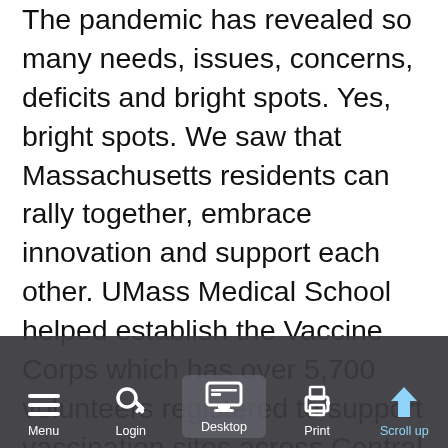The pandemic has revealed so many needs, issues, concerns, deficits and bright spots. Yes, bright spots. We saw that Massachusetts residents can rally together, embrace innovation and support each other. UMass Medical School helped establish the Vaccine Corps which has over 5,700 volunteers registered to support vaccination sites across Central Massachusetts. Volunteers include medical professionals, retired health care providers, students, faculty, and staff of local colleges and universities, and community members who just want to lend a hand. Newton-based Jewish Big Brother Big Sisters' enrollment numbers are at their highest point in years as a surprisingly large number of people have been reaching out during the pandemic to mentor.
The Lowell Association for the Blind (LAB) has strived to continue their volunteer activities and support during the Covid-19 pandemic and...
Menu  Login  Desktop  Print  Scroll up